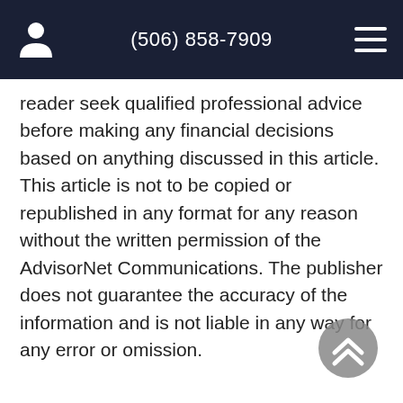(506) 858-7909
reader seek qualified professional advice before making any financial decisions based on anything discussed in this article. This article is not to be copied or republished in any format for any reason without the written permission of the AdvisorNet Communications. The publisher does not guarantee the accuracy of the information and is not liable in any way for any error or omission.